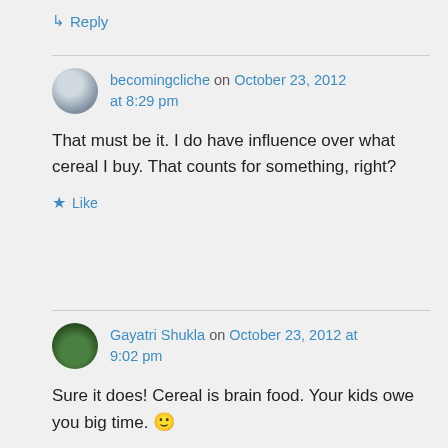↳ Reply
becomingcliche on October 23, 2012 at 8:29 pm
That must be it. I do have influence over what cereal I buy. That counts for something, right?
★ Like
Gayatri Shukla on October 23, 2012 at 9:02 pm
Sure it does! Cereal is brain food. Your kids owe you big time. 🙂